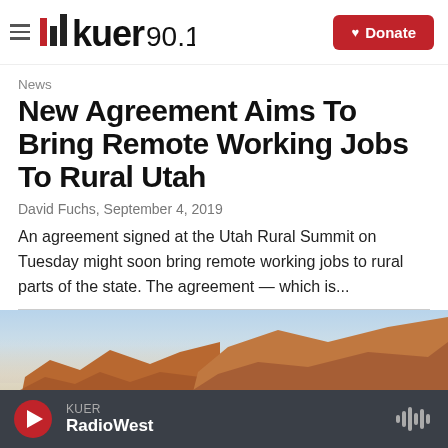KUER 90.1 — Donate
News
New Agreement Aims To Bring Remote Working Jobs To Rural Utah
David Fuchs, September 4, 2019
An agreement signed at the Utah Rural Summit on Tuesday might soon bring remote working jobs to rural parts of the state. The agreement — which is...
[Figure (photo): Landscape photo showing red rock cliffs and canyon scenery from rural Utah, with a hazy sky]
KUER RadioWest